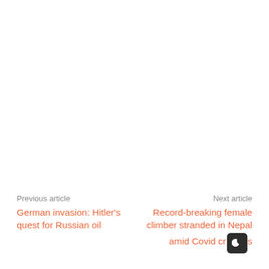Previous article
German invasion: Hitler's quest for Russian oil
Next article
Record-breaking female climber stranded in Nepal amid Covid crises